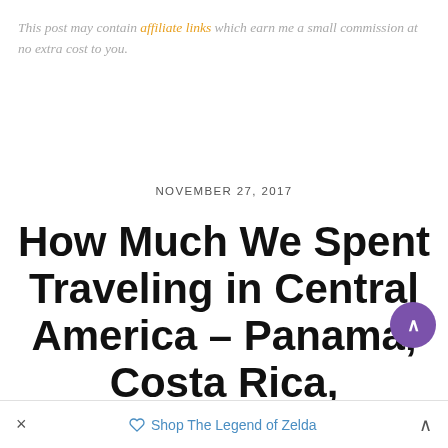This post may contain affiliate links which earn me a small commission at no extra cost to you.
NOVEMBER 27, 2017
How Much We Spent Traveling in Central America – Panama, Costa Rica, Nicaragua
× Shop The Legend of Zelda ^